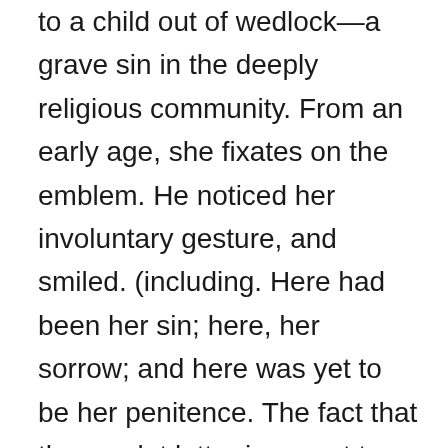to a child out of wedlock—a grave sin in the deeply religious community. From an early age, she fixates on the emblem. He noticed her involuntary gesture, and smiled. (including. Here had been her sin; here, her sorrow; and here was yet to be her penitence. The fact that the scarlet letter is meant to break Hester's spirit through shame, but instead, according to Chapter 13, enables Hester to become more independent is an example of a black glove In Chapter 11, what did the sexton return to Dimmesdale that he left